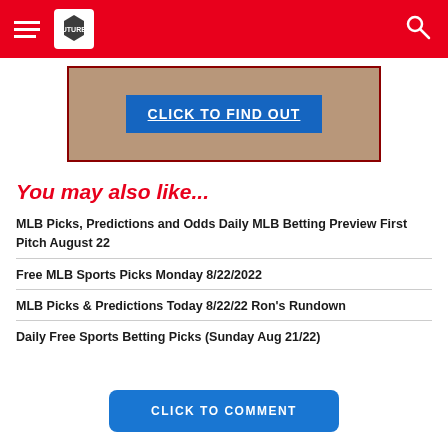Navigation header with hamburger menu, logo, and search icon
[Figure (other): Advertisement banner with blue button labeled CLICK TO FIND OUT over an image of hands holding money]
You may also like...
MLB Picks, Predictions and Odds Daily MLB Betting Preview First Pitch August 22
Free MLB Sports Picks Monday 8/22/2022
MLB Picks & Predictions Today 8/22/22 Ron's Rundown
Daily Free Sports Betting Picks (Sunday Aug 21/22)
CLICK TO COMMENT